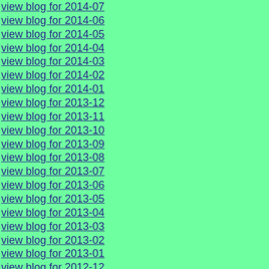view blog for 2014-07
view blog for 2014-06
view blog for 2014-05
view blog for 2014-04
view blog for 2014-03
view blog for 2014-02
view blog for 2014-01
view blog for 2013-12
view blog for 2013-11
view blog for 2013-10
view blog for 2013-09
view blog for 2013-08
view blog for 2013-07
view blog for 2013-06
view blog for 2013-05
view blog for 2013-04
view blog for 2013-03
view blog for 2013-02
view blog for 2013-01
view blog for 2012-12
view blog for 2012-11
view blog for 2012-10
view blog for 2012-09
view blog for 2012-08
view blog for 2012-07
view blog for 2012-06